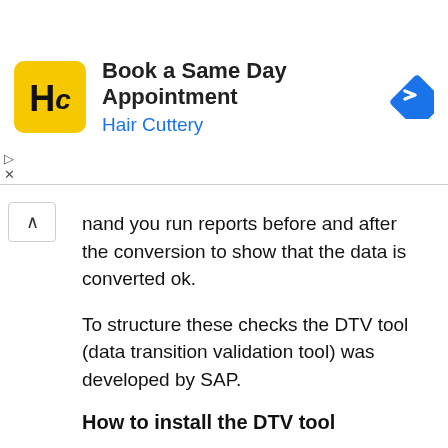[Figure (other): Hair Cuttery advertisement banner: logo (HC in yellow rounded square), text 'Book a Same Day Appointment / Hair Cuttery', blue navigation arrow icon on right]
mand you run reports before and after the conversion to show that the data is converted ok.
To structure these checks the DTV tool (data transition validation tool) was developed by SAP.
How to install the DTV tool
Master note for the DTV tool is 3117879 – DTV Tool – Central Note.